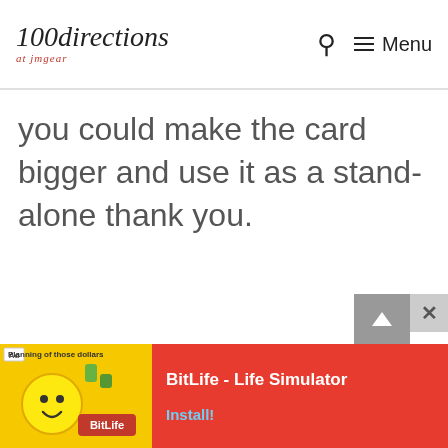100directions at jmgear — Search — Menu
you could make the card bigger and use it as a stand-alone thank you.
[Figure (screenshot): Ad banner for BitLife - Life Simulator game showing an emoji character and game screenshot on a red background with Install button]